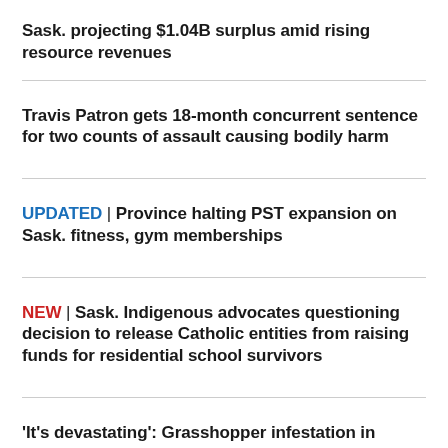Sask. projecting $1.04B surplus amid rising resource revenues
Travis Patron gets 18-month concurrent sentence for two counts of assault causing bodily harm
UPDATED | Province halting PST expansion on Sask. fitness, gym memberships
NEW | Sask. Indigenous advocates questioning decision to release Catholic entities from raising funds for residential school survivors
'It's devastating': Grasshopper infestation in southwest Sask. impacting crops